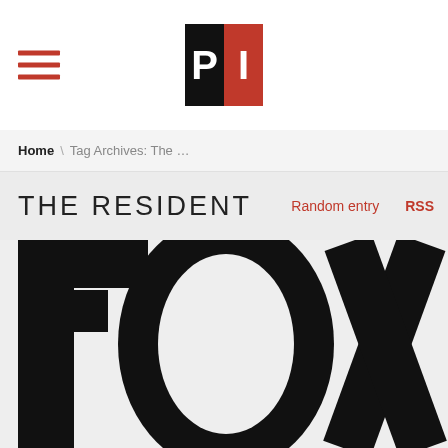PI logo and hamburger menu
Home \ Tag Archives: The ...
THE RESIDENT
Random entry   RSS
[Figure (photo): Large cropped FOX network logo showing bold black letters F O X on light background]